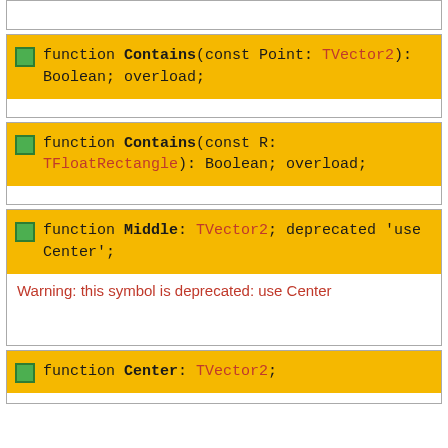function Contains(const Point: TVector2): Boolean; overload;
function Contains(const R: TFloatRectangle): Boolean; overload;
function Middle: TVector2; deprecated 'use Center';
Warning: this symbol is deprecated: use Center
function Center: TVector2;